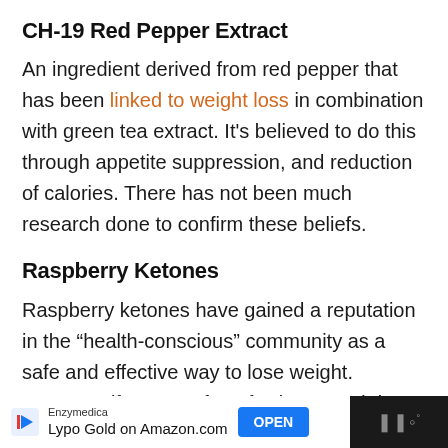CH-19 Red Pepper Extract
An ingredient derived from red pepper that has been linked to weight loss in combination with green tea extract. It’s believed to do this through appetite suppression, and reduction of calories. There has not been much research done to confirm these beliefs.
Raspberry Ketones
Raspberry ketones have gained a reputation in the “health-conscious” community as a safe and effective way to lose weight. However, if you’re a fan of science and data – there’s really not much to
Enzymedica Lypo Gold on Amazon.com OPEN